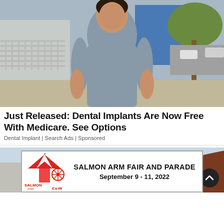[Figure (photo): A smiling young woman with dark hair in a grey short-sleeve dress standing on a sidewalk in front of a building and trees.]
Just Released: Dental Implants Are Now Free With Medicare. See Options
Dental Implant | Search Ads | Sponsored
[Figure (photo): Partial background photo showing a light blue sky and a person with reddish-brown hair, partially visible.]
[Figure (logo): Salmon Arm Fair logo with carnival tent and fairground imagery.]
SALMON ARM FAIR AND PARADE
September 9 - 11, 2022